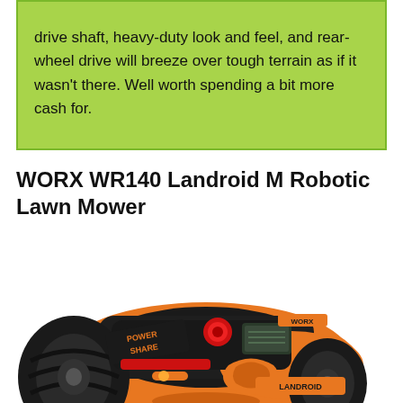drive shaft, heavy-duty look and feel, and rear-wheel drive will breeze over tough terrain as if it wasn't there. Well worth spending a bit more cash for.
WORX WR140 Landroid M Robotic Lawn Mower
[Figure (photo): Photo of the WORX WR140 Landroid M Robotic Lawn Mower, an orange and black robotic lawn mower with large treaded wheels, a red stop button, LCD display panel, and LANDROID and POWER SHARE branding visible on the body.]